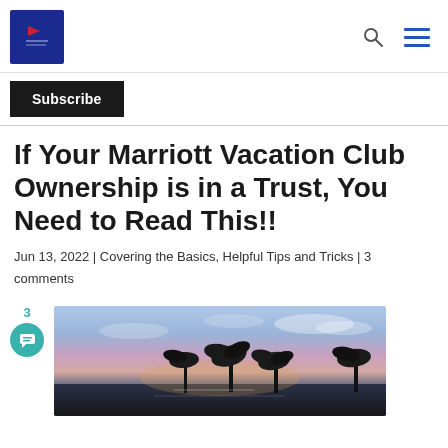[Figure (logo): Marriott-related blog logo — dark blue square with small icon and text inside]
[Figure (other): Search icon (magnifying glass) and hamburger menu icon (three horizontal blue lines) in the page header]
Subscribe
If Your Marriott Vacation Club Ownership is in a Trust, You Need to Read This!!
Jun 13, 2022 | Covering the Basics, Helpful Tips and Tricks | 3 comments
[Figure (photo): Tropical beach sunset scene with palm trees silhouetted against a colorful sky with clouds]